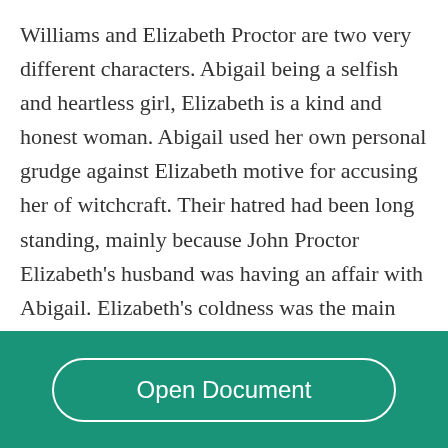Williams and Elizabeth Proctor are two very different characters. Abigail being a selfish and heartless girl, Elizabeth is a kind and honest woman. Abigail used her own personal grudge against Elizabeth motive for accusing her of witchcraft. Their hatred had been long standing, mainly because John Proctor Elizabeth's husband was having an affair with Abigail. Elizabeth's coldness was the main cause of her husband's disloyalty but she forgives him and does what is possible to keep her family together which is the
[Figure (other): Red 'Read More' button overlaid on faded text]
Open Document